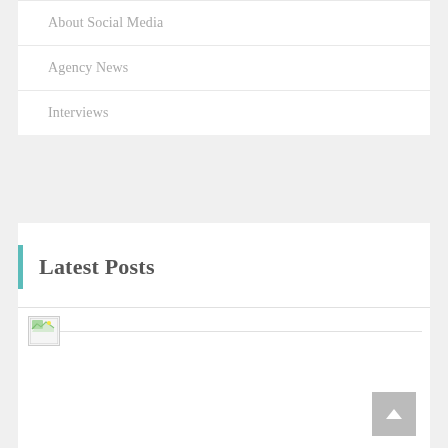About Social Media
Agency News
Interviews
Latest Posts
[Figure (photo): Broken/missing image thumbnail for a latest post item]